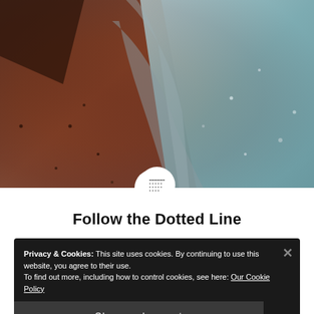[Figure (photo): Aerial/satellite photograph of a Martian crater or slope showing reddish-brown terrain on the left and blue-tinted icy or frost-covered terrain on the right, with small boulders scattered across the surface.]
Follow the Dotted Line
Privacy & Cookies: This site uses cookies. By continuing to use this website, you agree to their use.
To find out more, including how to control cookies, see here: Our Cookie Policy
Close and accept